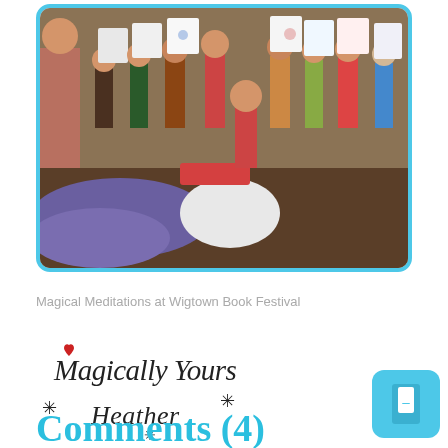[Figure (photo): Children standing in a group at what appears to be an event, holding up drawings/papers they have made. Adults are also visible in the scene. The setting appears to be indoors at a book festival.]
Magical Meditations at Wigtown Book Festival
[Figure (illustration): Handwritten decorative signature reading 'Magically Yours Heather' with a small red heart above the M, asterisk/star decorations around the text, in a stylized hand-lettered font.]
Comments (4)